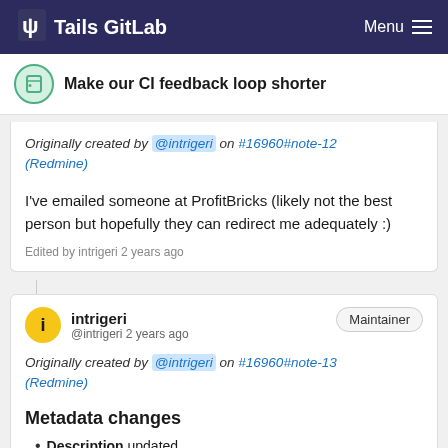Tails GitLab  Menu
Make our CI feedback loop shorter
Originally created by @intrigeri on #16960#note-12 (Redmine)
I've emailed someone at ProfitBricks (likely not the best person but hopefully they can redirect me adequately :)
Edited by intrigeri 2 years ago
intrigeri  Maintainer  @intrigeri 2 years ago
Originally created by @intrigeri on #16960#note-13 (Redmine)
Metadata changes
Description updated